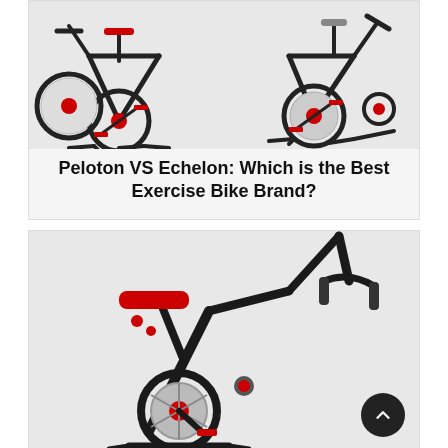[Figure (photo): Two exercise bikes side by side — a Peloton on the left and an Echelon on the right, both black with red accents, shown on white background]
Peloton VS Echelon: Which is the Best Exercise Bike Brand?
[Figure (photo): Close-up photo of an exercise bike (Echelon) in black with a red seat and red accent pieces, shown on a light background with a back-to-top circular button in the bottom right]